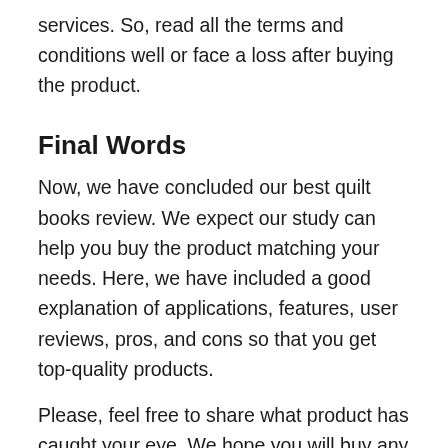services. So, read all the terms and conditions well or face a loss after buying the product.
Final Words
Now, we have concluded our best quilt books review. We expect our study can help you buy the product matching your needs. Here, we have included a good explanation of applications, features, user reviews, pros, and cons so that you get top-quality products.
Please, feel free to share what product has caught your eye. We hope you will buy any of our selected items as we have already proved why they are best. Indeed, buyers are craving to buy them.